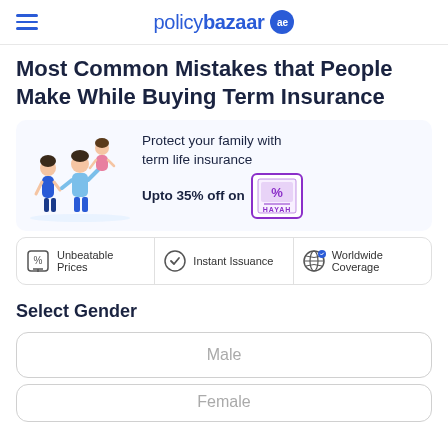policybazaar ae
Most Common Mistakes that People Make While Buying Term Insurance
[Figure (illustration): Ad banner showing a family illustration with a man lifting a child, woman standing beside, with text: Protect your family with term life insurance. Upto 35% off on HAYAH logo.]
Unbeatable Prices | Instant Issuance | Worldwide Coverage
Select Gender
Male
Female